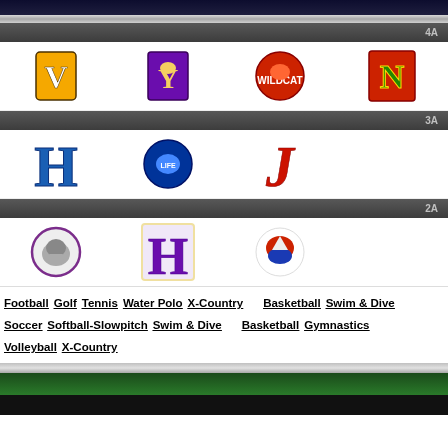4A
[Figure (logo): Row of school logos for 4A division: V logo (yellow/gold), Y/bird logo (purple), wildcat logo (red), N logo (red/green)]
3A
[Figure (logo): Row of school logos for 3A division: H logo (blue), Lifelike/dolphin logo (blue), J logo (red italic)]
2A
[Figure (logo): Row of school logos for 2A division: bulldog logo (purple/grey), H logo (purple), eagle logo (red/blue)]
Football  Golf  Tennis  Water Polo  X-Country     Basketball  Swim & Dive
Soccer  Softball-Slowpitch  Swim & Dive     Basketball  Gymnastics
Volleyball  X-Country